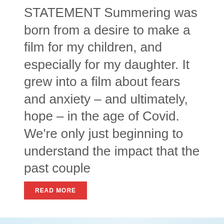STATEMENT Summering was born from a desire to make a film for my children, and especially for my daughter. It grew into a film about fears and anxiety – and ultimately, hope – in the age of Covid.  We're only just beginning to understand the impact that the past couple
READ MORE
MOVIE MINUTE
[Figure (illustration): A faded reddish-pink illustration of a person swinging a baseball bat against a light blue background, with the 'MOVIE MINUTE' label overlay in the top left corner]